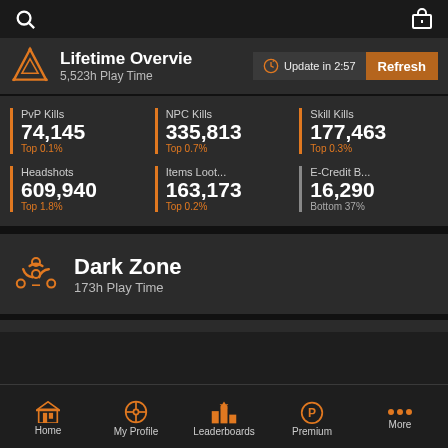Lifetime Overview — 5,523h Play Time
Update in 2:57
PvP Kills
74,145
Top 0.1%
NPC Kills
335,813
Top 0.7%
Skill Kills
177,463
Top 0.3%
Headshots
609,940
Top 1.8%
Items Loot...
163,173
Top 0.2%
E-Credit B...
16,290
Bottom 37%
Dark Zone
173h Play Time
Home | My Profile | Leaderboards | Premium | More